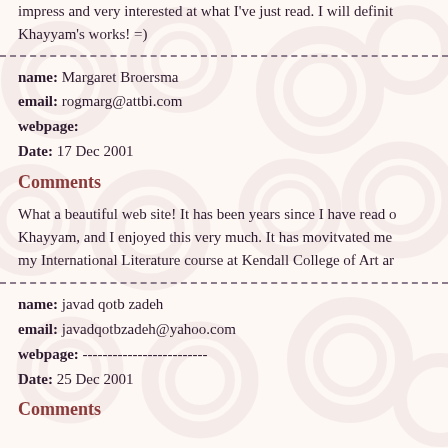impress and very interested at what I've just read. I will defini... Khayyam's works! =)
name: Margaret Broersma
email: rogmarg@attbi.com
webpage:
Date: 17 Dec 2001
Comments
What a beautiful web site! It has been years since I have read o... Khayyam, and I enjoyed this very much. It has movitvated me... my International Literature course at Kendall College of Art ar...
name: javad qotb zadeh
email: javadqotbzadeh@yahoo.com
webpage: -------------------------
Date: 25 Dec 2001
Comments